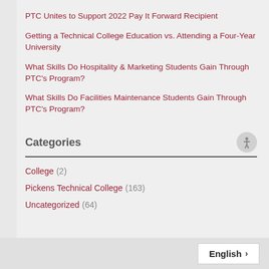PTC Unites to Support 2022 Pay It Forward Recipient
Getting a Technical College Education vs. Attending a Four-Year University
What Skills Do Hospitality & Marketing Students Gain Through PTC's Program?
What Skills Do Facilities Maintenance Students Gain Through PTC's Program?
Categories
College (2)
Pickens Technical College (163)
Uncategorized (64)
English >